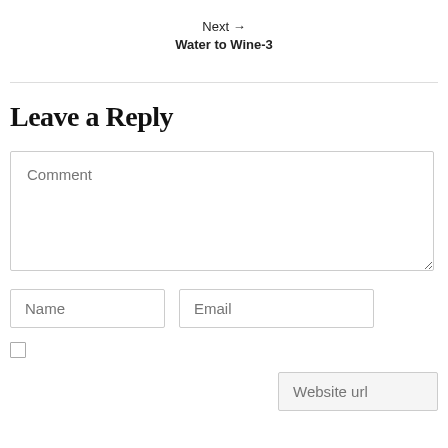Next → Water to Wine-3
Leave a Reply
Comment
Name
Email
Website url